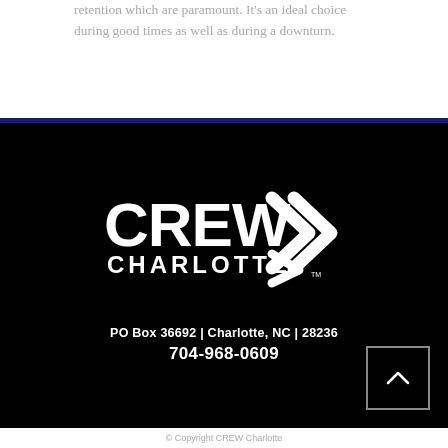retention which are paramount. It’s an ideal choice during good times as well as during a downturn.
[Figure (logo): CREW Charlotte logo in white on black background, featuring the text CREW CHARLOTTE with stylized double chevron arrows to the right]
PO Box 36692 | Charlotte, NC  | 28236
704-968-0609
© Copyright CREW Charlotte